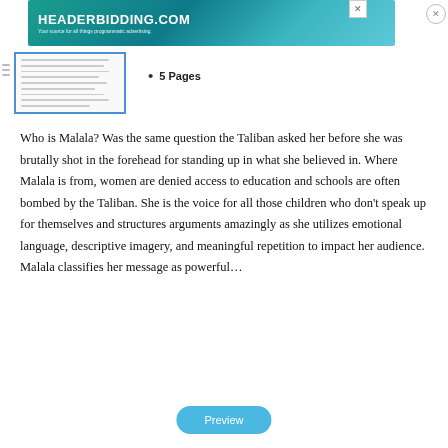[Figure (screenshot): Header Bidding advertisement banner: teal/blue gradient background with text 'HEADERBIDDING.COM' and 'Your source for all things programmatic advertising.']
[Figure (screenshot): Small document thumbnail preview with blue border showing lines of text]
5 Pages
Who is Malala? Was the same question the Taliban asked her before she was brutally shot in the forehead for standing up in what she believed in. Where Malala is from, women are denied access to education and schools are often bombed by the Taliban. She is the voice for all those children who don't speak up for themselves and structures arguments amazingly as she utilizes emotional language, descriptive imagery, and meaningful repetition to impact her audience. Malala classifies her message as powerful…
Preview